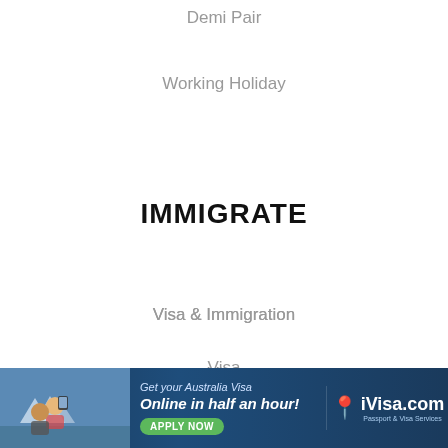Demi Pair
Working Holiday
IMMIGRATE
Visa & Immigration
Visa
Immigration
IELTS
[Figure (infographic): Advertisement banner for iVisa.com showing a couple taking a selfie in front of the Sydney Opera House, with text 'Get your Australia Visa Online in half an hour!' and an APPLY NOW button, alongside the iVisa.com logo]